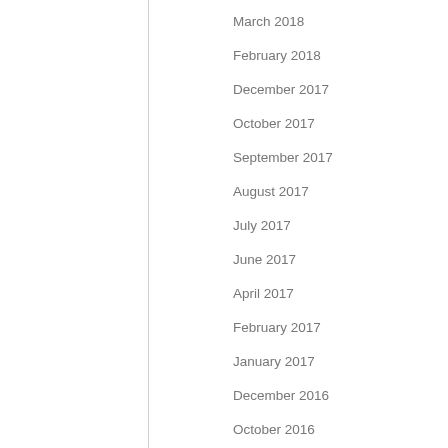March 2018
February 2018
December 2017
October 2017
September 2017
August 2017
July 2017
June 2017
April 2017
February 2017
January 2017
December 2016
October 2016